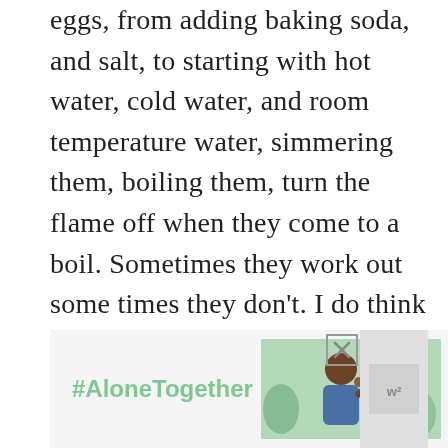eggs, from adding baking soda, and salt, to starting with hot water, cold water, and room temperature water, simmering them, boiling them, turn the flame off when they come to a boil. Sometimes they work out some times they don't. I do think it sometimes has to do with how fresh or old the eggs are. But ONE thing is for sure the INSTANT POT doesn't care. It's the SIMPLEST way to make hard-boiled eggs. NO fuss!
[Figure (other): Advertisement banner with '#AloneTogether' hashtag in green text, a photo of a man and child waving, a close button, and a logo box on the right.]